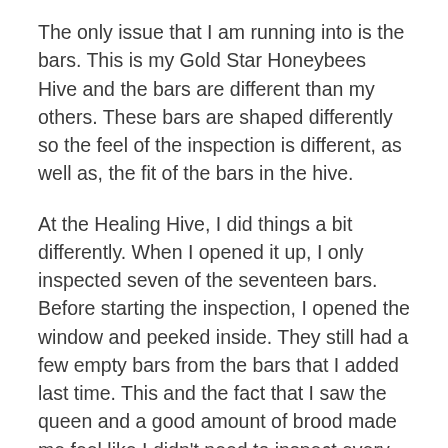The only issue that I am running into is the bars. This is my Gold Star Honeybees Hive and the bars are different than my others. These bars are shaped differently so the feel of the inspection is different, as well as, the fit of the bars in the hive.
At the Healing Hive, I did things a bit differently. When I opened it up, I only inspected seven of the seventeen bars. Before starting the inspection, I opened the window and peeked inside. They still had a few empty bars from the bars that I added last time. This and the fact that I saw the queen and a good amount of brood made me feel like I didn't need to inspect every single bar this time.
Of the seven bars that I inspected, six of them had some form of brood. There were four bars with eggs on